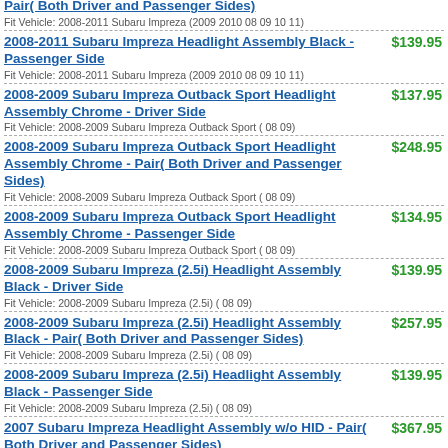Pair( Both Driver and Passenger Sides)
Fit Vehicle: 2008-2011 Subaru Impreza (2009 2010 08 09 10 11)
2008-2011 Subaru Impreza Headlight Assembly Black - Passenger Side
Fit Vehicle: 2008-2011 Subaru Impreza (2009 2010 08 09 10 11)
$139.95
2008-2009 Subaru Impreza Outback Sport Headlight Assembly Chrome - Driver Side
Fit Vehicle: 2008-2009 Subaru Impreza Outback Sport ( 08 09)
$137.95
2008-2009 Subaru Impreza Outback Sport Headlight Assembly Chrome - Pair( Both Driver and Passenger Sides)
Fit Vehicle: 2008-2009 Subaru Impreza Outback Sport ( 08 09)
$248.95
2008-2009 Subaru Impreza Outback Sport Headlight Assembly Chrome - Passenger Side
Fit Vehicle: 2008-2009 Subaru Impreza Outback Sport ( 08 09)
$134.95
2008-2009 Subaru Impreza (2.5i) Headlight Assembly Black - Driver Side
Fit Vehicle: 2008-2009 Subaru Impreza (2.5i) ( 08 09)
$139.95
2008-2009 Subaru Impreza (2.5i) Headlight Assembly Black - Pair( Both Driver and Passenger Sides)
Fit Vehicle: 2008-2009 Subaru Impreza (2.5i) ( 08 09)
$257.95
2008-2009 Subaru Impreza (2.5i) Headlight Assembly Black - Passenger Side
Fit Vehicle: 2008-2009 Subaru Impreza (2.5i) ( 08 09)
$139.95
2007 Subaru Impreza Headlight Assembly w/o HID - Pair( Both Driver and Passenger Sides)
Fit Vehicle: 2007-2007 Subaru Impreza ( 07)
$367.95
2006 Subaru Impreza Headlight Assembly non-HID Type - Driver Side
$193.95